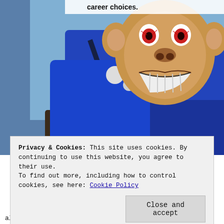[Figure (photo): A person or figure wearing a monkey mask/costume with a large grinning face and blue outfit, sitting in a car seat with seatbelt, hands on steering wheel. Partial text 'career choices.' visible at top.]
Privacy & Cookies: This site uses cookies. By continuing to use this website, you agree to their use.
To find out more, including how to control cookies, see here: Cookie Policy
Close and accept
all. They were festering inside